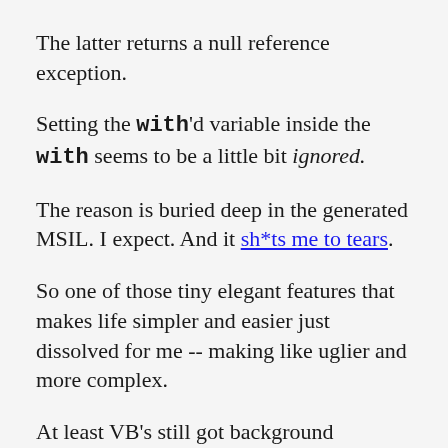The latter returns a null reference exception.
Setting the with'd variable inside the with seems to be a little bit ignored.
The reason is buried deep in the generated MSIL. I expect. And it sh*ts me to tears.
So one of those tiny elegant features that makes life simpler and easier just dissolved for me -- making like uglier and more complex.
At least VB's still got background